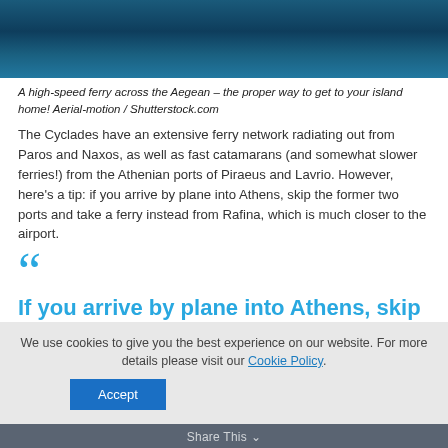[Figure (photo): Aerial view of dark blue ocean/sea water, top portion of a high-speed ferry image]
A high-speed ferry across the Aegean – the proper way to get to your island home! Aerial-motion / Shutterstock.com
The Cyclades have an extensive ferry network radiating out from Paros and Naxos, as well as fast catamarans (and somewhat slower ferries!) from the Athenian ports of Piraeus and Lavrio. However, here's a tip: if you arrive by plane into Athens, skip the former two ports and take a ferry instead from Rafina, which is much closer to the airport.
If you arrive by plane into Athens, skip Piraeus and Lavrio and take a ferry
We use cookies to give you the best experience on our website. For more details please visit our Cookie Policy.
Accept
Share This